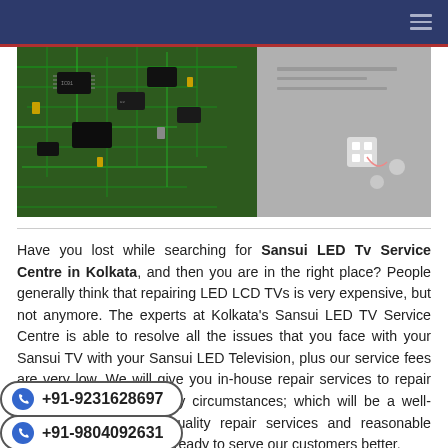[Figure (photo): Close-up photo of a green electronic circuit board with components, next to a grey metal panel, likely inside a TV or electronic device.]
Have you lost while searching for Sansui LED Tv Service Centre in Kolkata, and then you are in the right place? People generally think that repairing LED LCD TVs is very expensive, but not anymore. The experts at Kolkata's Sansui LED TV Service Centre is able to resolve all the issues that you face with your Sansui TV with your Sansui LED Television, plus our service fees are very low. We will give you in-house repair services to repair LED LCD TVs under any circumstances; which will be a well-trained engineer with quality repair services and reasonable service charges. We are ready to serve our customers better.
+91-9231628697
+91-9804092631